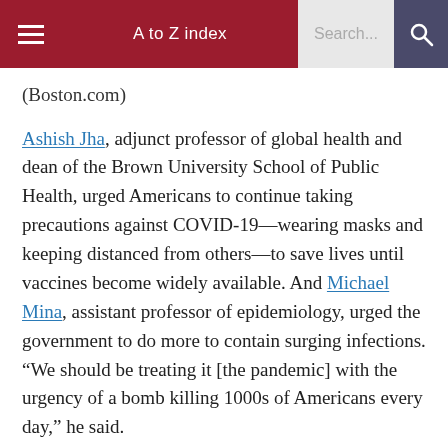A to Z index  Search...
(Boston.com)
Ashish Jha, adjunct professor of global health and dean of the Brown University School of Public Health, urged Americans to continue taking precautions against COVID-19—wearing masks and keeping distanced from others—to save lives until vaccines become widely available. And Michael Mina, assistant professor of epidemiology, urged the government to do more to contain surging infections. “We should be treating it [the pandemic] with the urgency of a bomb killing 1000s of Americans every day,” he said.